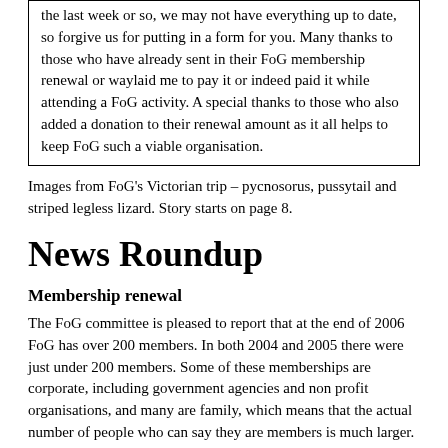the last week or so, we may not have everything up to date, so forgive us for putting in a form for you. Many thanks to those who have already sent in their FoG membership renewal or waylaid me to pay it or indeed paid it while attending a FoG activity. A special thanks to those who also added a donation to their renewal amount as it all helps to keep FoG such a viable organisation.
Images from FoG's Victorian trip – pycnosorus, pussytail and striped legless lizard. Story starts on page 8.
News Roundup
Membership renewal
The FoG committee is pleased to report that at the end of 2006 FoG has over 200 members. In both 2004 and 2005 there were just under 200 members. Some of these memberships are corporate, including government agencies and non profit organisations, and many are family, which means that the actual number of people who can say they are members is much larger. It is also pleasing to report that over half of our members have already renewed for 2007.